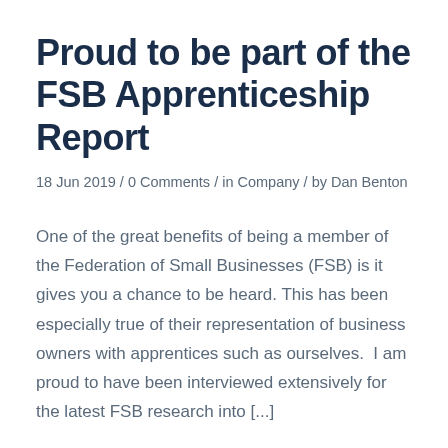Proud to be part of the FSB Apprenticeship Report
18 Jun 2019 / 0 Comments / in Company / by Dan Benton
One of the great benefits of being a member of the Federation of Small Businesses (FSB) is it gives you a chance to be heard. This has been especially true of their representation of business owners with apprentices such as ourselves.  I am proud to have been interviewed extensively for the latest FSB research into [...]